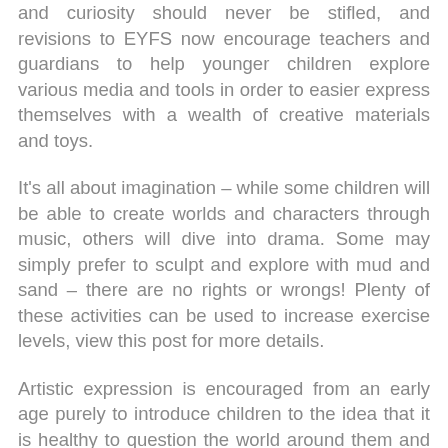and curiosity should never be stifled, and revisions to EYFS now encourage teachers and guardians to help younger children explore various media and tools in order to easier express themselves with a wealth of creative materials and toys.
It's all about imagination – while some children will be able to create worlds and characters through music, others will dive into drama. Some may simply prefer to sculpt and explore with mud and sand – there are no rights or wrongs! Plenty of these activities can be used to increase exercise levels, view this post for more details.
Artistic expression is encouraged from an early age purely to introduce children to the idea that it is healthy to question the world around them and to be